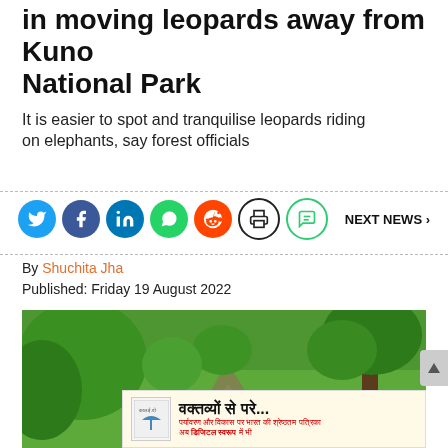in moving leopards away from Kuno National Park
It is easier to spot and tranquilise leopards riding on elephants, say forest officials
By Shuchita Jha
Published: Friday 19 August 2022
[Figure (photo): Person riding an elephant through lush green forest with dirt track, trees visible]